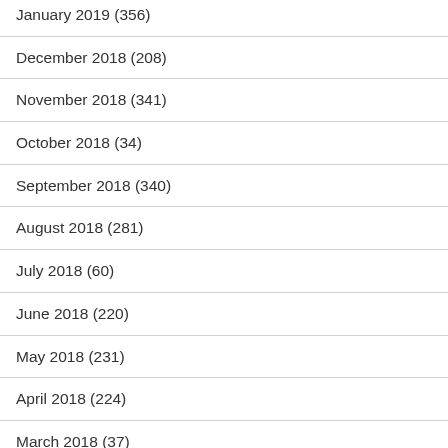January 2019 (356)
December 2018 (208)
November 2018 (341)
October 2018 (34)
September 2018 (340)
August 2018 (281)
July 2018 (60)
June 2018 (220)
May 2018 (231)
April 2018 (224)
March 2018 (37)
February 2018 (44)